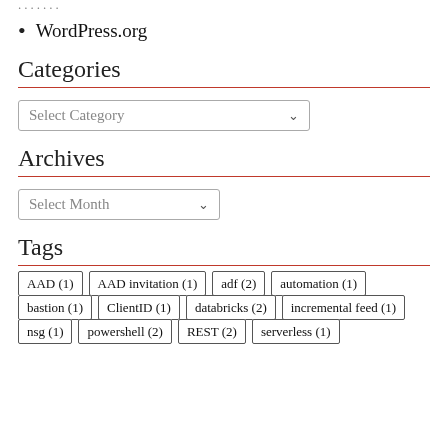WordPress.org
Categories
Select Category
Archives
Select Month
Tags
AAD (1)
AAD invitation (1)
adf (2)
automation (1)
bastion (1)
ClientID (1)
databricks (2)
incremental feed (1)
nsg (1)
powershell (2)
REST (2)
serverless (1)